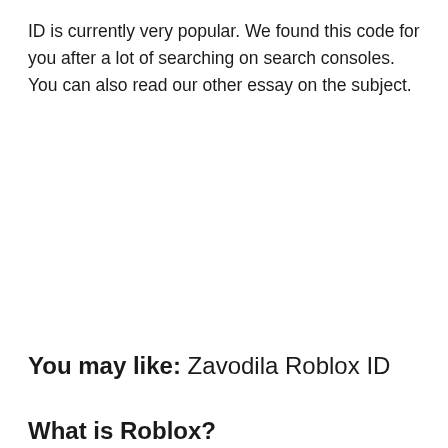ID is currently very popular. We found this code for you after a lot of searching on search consoles. You can also read our other essay on the subject.
You may like: Zavodila Roblox ID
What is Roblox?